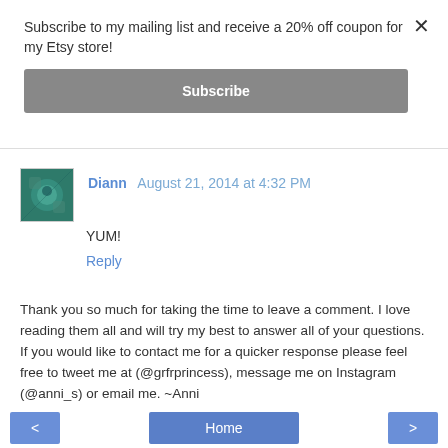Subscribe to my mailing list and receive a 20% off coupon for my Etsy store!
Subscribe
[Figure (illustration): Avatar thumbnail image for commenter Diann, showing a decorative image with teal/green tones]
Diann  August 21, 2014 at 4:32 PM
YUM!
Reply
Thank you so much for taking the time to leave a comment. I love reading them all and will try my best to answer all of your questions. If you would like to contact me for a quicker response please feel free to tweet me at (@grfrprincess), message me on Instagram (@anni_s) or email me. ~Anni
< Home >